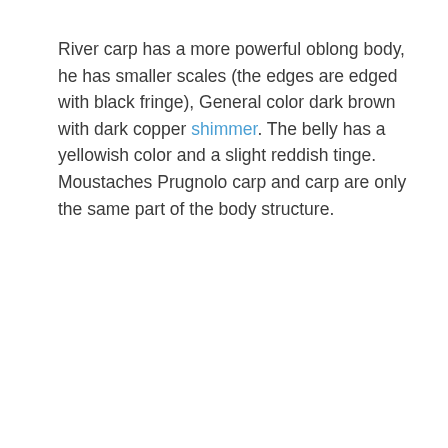River carp has a more powerful oblong body, he has smaller scales (the edges are edged with black fringe), General color dark brown with dark copper shimmer. The belly has a yellowish color and a slight reddish tinge. Moustaches Prugnolo carp and carp are only the same part of the body structure.